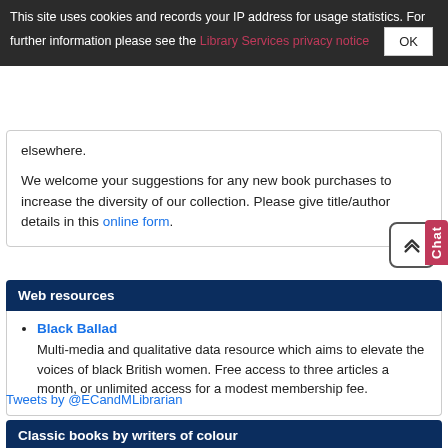This site uses cookies and records your IP address for usage statistics. For further information please see the Library Services privacy notice  OK
elsewhere.
We welcome your suggestions for any new book purchases to increase the diversity of our collection. Please give title/author details in this online form.
Web resources
Black Ballad
Multi-media and qualitative data resource which aims to elevate the voices of black British women. Free access to three articles a month, or unlimited access for a modest membership fee.
Tweets by @ECandMLibrarian
Classic books by writers of colour